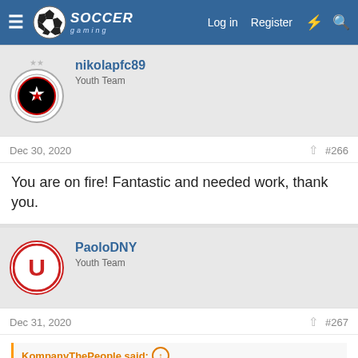Soccer Gaming – Log in | Register
nikolapfc89
Youth Team
Dec 30, 2020  #266
You are on fire! Fantastic and needed work, thank you.
PaoloDNY
Youth Team
Dec 31, 2020  #267
KompanyThePeople said:
No, sorry, read the message above yours.
Good luck boss... see you soon!!!...
😍 Geo774